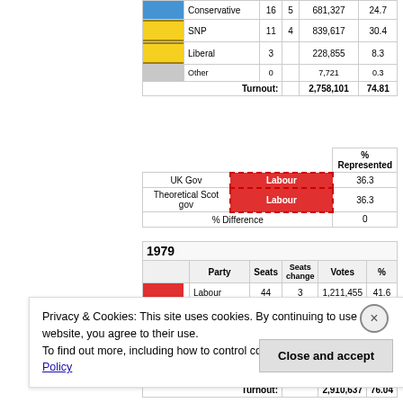|  | Party | Seats | Seats change | Votes | % |
| --- | --- | --- | --- | --- | --- |
| [blue] | Conservative | 16 | 5 | 681,327 | 24.7 |
| [yellow] | SNP | 11 | 4 | 839,617 | 30.4 |
| [yellow] | Liberal | 3 |  | 228,855 | 8.3 |
| [gray] | Other | 0 |  | 7,721 | 0.3 |
|  |  |  | Turnout: | 2,758,101 | 74.81 |
|  |  | % Represented |
| --- | --- | --- |
| UK Gov | Labour | 36.3 |
| Theoretical Scot gov | Labour | 36.3 |
|  | % Difference | 0 |
| 1979 |  |  |  |  |
| --- | --- | --- | --- | --- |
| Party | Seats | Seats change | Votes | % |
| Labour | 44 | 3 | 1,211,455 | 41.6 |
| Conservative | 22 | 8 | 916,155 | 31.4 |
| SNP | 2 | 9 | 504,259 | 17.3 |
| Liberal | 3 | 0 | 262,224 | 9 |
| Other | 0 | 0 | 16,618 | 0.6 |
| Turnout: |  |  | 2,910,637 | 76.04 |
Privacy & Cookies: This site uses cookies. By continuing to use this website, you agree to their use. To find out more, including how to control cookies, see here: Cookie Policy